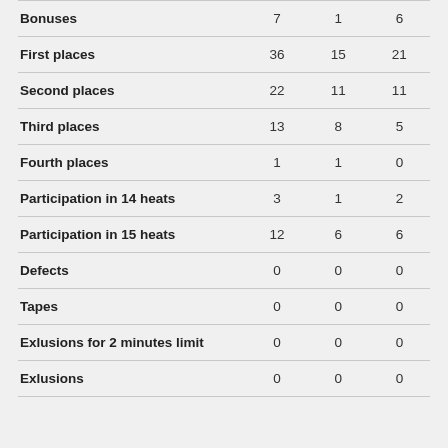|  |  |  |  |
| --- | --- | --- | --- |
| Bonuses | 7 | 1 | 6 |
| First places | 36 | 15 | 21 |
| Second places | 22 | 11 | 11 |
| Third places | 13 | 8 | 5 |
| Fourth places | 1 | 1 | 0 |
| Participation in 14 heats | 3 | 1 | 2 |
| Participation in 15 heats | 12 | 6 | 6 |
| Defects | 0 | 0 | 0 |
| Tapes | 0 | 0 | 0 |
| Exlusions for 2 minutes limit | 0 | 0 | 0 |
| Exlusions | 0 | 0 | 0 |